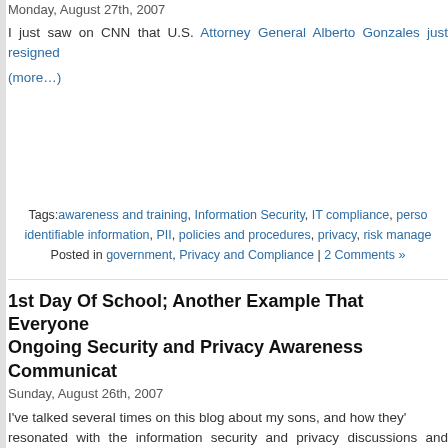Monday, August 27th, 2007
I just saw on CNN that U.S. Attorney General Alberto Gonzales just resigned
(more…)
Tags: awareness and training, Information Security, IT compliance, personally identifiable information, PII, policies and procedures, privacy, risk management
Posted in government, Privacy and Compliance | 2 Comments »
1st Day Of School; Another Example That Everyone Needs Ongoing Security and Privacy Awareness Communications
Sunday, August 26th, 2007
I've talked several times on this blog about my sons, and how they've resonated with the information security and privacy discussions and information given them. They notice privacy risks and security problems when we're out or traveling. They point out problems on the Internet. They won't let me watch their fingers when they enter their passwords on their membership sites so I discover their passwords…even though they know my parent account has access to change them. 🙂